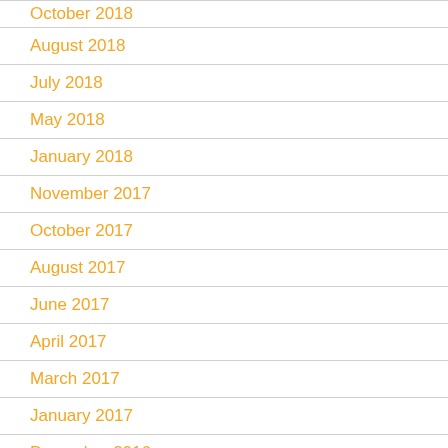October 2018
August 2018
July 2018
May 2018
January 2018
November 2017
October 2017
August 2017
June 2017
April 2017
March 2017
January 2017
December 2016
September 2016